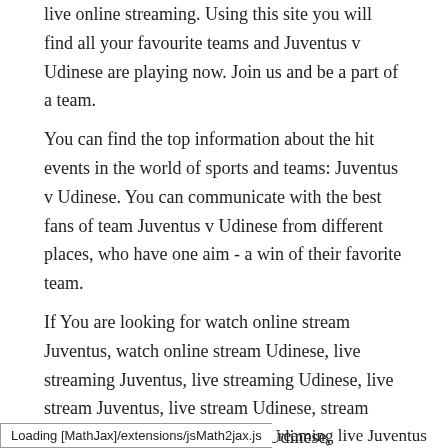live online streaming. Using this site you will find all your favourite teams and Juventus v Udinese are playing now. Join us and be a part of a team.
You can find the top information about the hit events in the world of sports and teams: Juventus v Udinese. You can communicate with the best fans of team Juventus v Udinese from different places, who have one aim - a win of their favorite team.
If You are looking for watch online stream Juventus, watch online stream Udinese, live streaming Juventus, live streaming Udinese, live stream Juventus, live stream Udinese, stream online Juventus, stream online Udinese, streaming Juventus, streaming Udinese, streaming live Juventus, streaming live Udinese, watch live Juventus, watch live Udinese, watch stream Juventus, watch stream Udinese, watch online stream Juventus vs Udinese, live streaming Juventus vs Udinese , live stream Juventus vs Udinese ,
Loading [MathJax]/extensions/jsMath2jax.js   reaming live Juventus